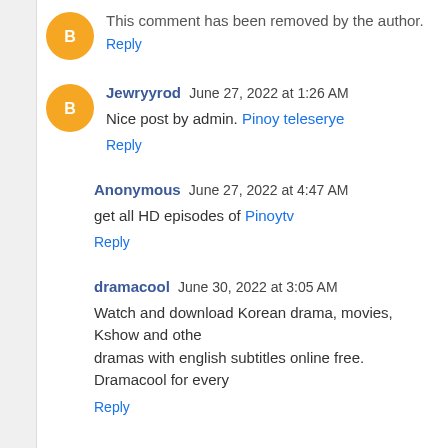This comment has been removed by the author.
Reply
Jewryyrod  June 27, 2022 at 1:26 AM
Nice post by admin. Pinoy teleserye
Reply
Anonymous  June 27, 2022 at 4:47 AM
get all HD episodes of Pinoytv
Reply
dramacool  June 30, 2022 at 3:05 AM
Watch and download Korean drama, movies, Kshow and other Asian dramas with english subtitles online free. Dramacool for every
Reply